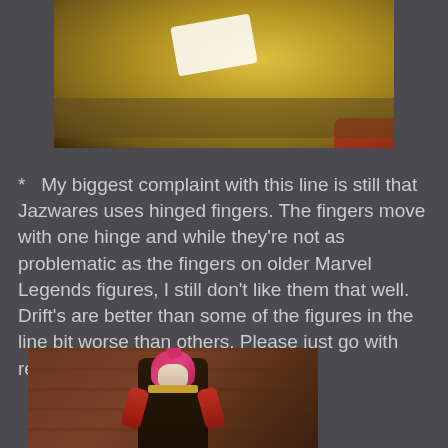[Figure (photo): Close-up photo of a gold/yellow armored action figure hand or weapon detail, partially cropped at top of page]
*   My biggest complaint with this line is still that Jazwares uses hinged fingers. The fingers move with one hinge and while they're not as problematic as the fingers on older Marvel Legends figures, I still don't like them that well. Drift's are better than some of the figures in the line bit worse than others. Please just go with regular hands, Jazwares!
[Figure (photo): Photo of a fox-masked action figure wearing a pink and dark red/black outfit with gold accents, posed against a wooden background]